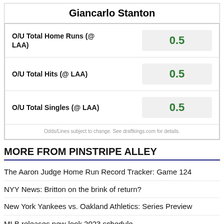Giancarlo Stanton
| Bet Type | Line |
| --- | --- |
| O/U Total Home Runs (@ LAA) | 0.5 |
| O/U Total Hits (@ LAA) | 0.5 |
| O/U Total Singles (@ LAA) | 0.5 |
Odds/Lines subject to change. See draftkings.com for details.
MORE FROM PINSTRIPE ALLEY
The Aaron Judge Home Run Record Tracker: Game 124
NYY News: Britton on the brink of return?
New York Yankees vs. Oakland Athletics: Series Preview
MLB releases new-look 2023 schedule